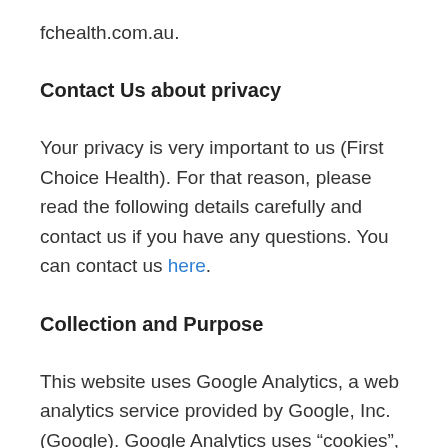fchealth.com.au.
Contact Us about privacy
Your privacy is very important to us (First Choice Health). For that reason, please read the following details carefully and contact us if you have any questions. You can contact us here.
Collection and Purpose
This website uses Google Analytics, a web analytics service provided by Google, Inc. (Google). Google Analytics uses “cookies”, which are